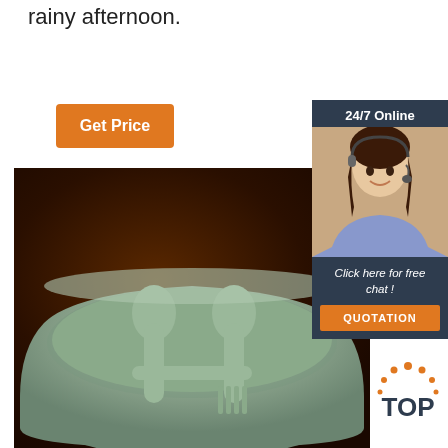rainy afternoon.
Get Price
[Figure (photo): Green/sage silicone baby bowl with fork and spoon utensils inside, on dark brown background]
24/7 Online
[Figure (photo): Customer service agent, young woman with headset smiling]
Click here for free chat !
QUOTATION
[Figure (logo): TOP logo with orange dots arranged in arc above text]